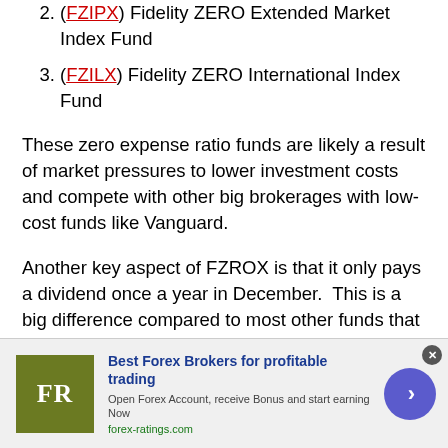2. (FZIPX) Fidelity ZERO Extended Market Index Fund
3. (FZILX) Fidelity ZERO International Index Fund
These zero expense ratio funds are likely a result of market pressures to lower investment costs and compete with other big brokerages with low-cost funds like Vanguard.
Another key aspect of FZROX is that it only pays a dividend once a year in December.  This is a big difference compared to most other funds that pay a dividend quarterly.
[Figure (advertisement): Ad banner for forex-ratings.com: Best Forex Brokers for profitable trading. Open Forex Account, receive Bonus and start earning Now. Shows FR logo in olive/green square and circular arrow button.]